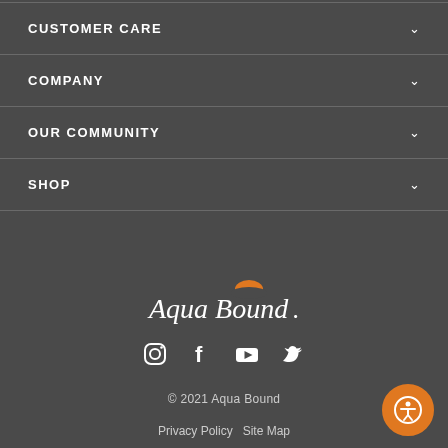CUSTOMER CARE
COMPANY
OUR COMMUNITY
SHOP
[Figure (logo): Aqua Bound logo in white script font with orange sun graphic above]
[Figure (infographic): Social media icons: Instagram, Facebook, YouTube, Twitter]
© 2021 Aqua Bound
Privacy Policy   Site Map